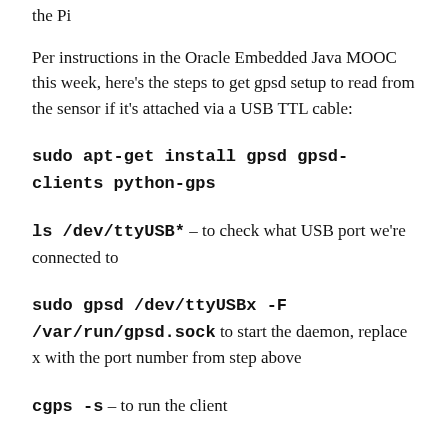the Pi
Per instructions in the Oracle Embedded Java MOOC this week, here's the steps to get gpsd setup to read from the sensor if it's attached via a USB TTL cable:
sudo apt-get install gpsd gpsd-clients python-gps
ls /dev/ttyUSB* – to check what USB port we're connected to
sudo gpsd /dev/ttyUSBx -F /var/run/gpsd.sock to start the daemon, replace x with the port number from step above
cgps -s – to run the client